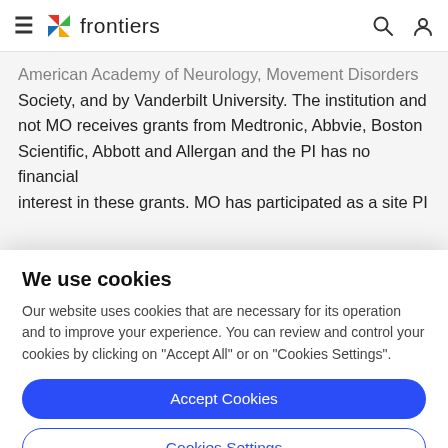frontiers
American Academy of Neurology, Movement Disorders Society, and by Vanderbilt University. The institution and not MO receives grants from Medtronic, Abbvie, Boston Scientific, Abbott and Allergan and the PI has no financial interest in these grants. MO has participated as a site PI
We use cookies
Our website uses cookies that are necessary for its operation and to improve your experience. You can review and control your cookies by clicking on "Accept All" or on "Cookies Settings".
Accept Cookies
Cookies Settings